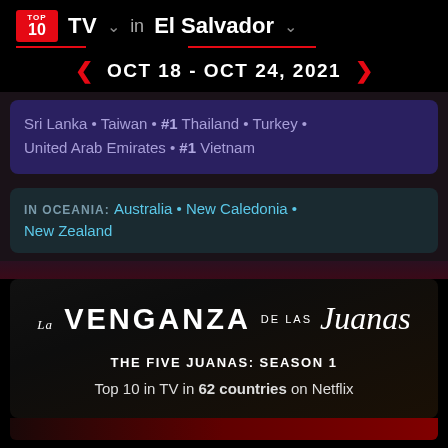TOP 10 TV in El Salvador
OCT 18 - OCT 24, 2021
Sri Lanka · Taiwan · #1 Thailand · Turkey · United Arab Emirates · #1 Vietnam
IN OCEANIA: Australia · New Caledonia · New Zealand
[Figure (screenshot): La Venganza de las Juanas show logo on dark background]
THE FIVE JUANAS: SEASON 1
Top 10 in TV in 62 countries on Netflix